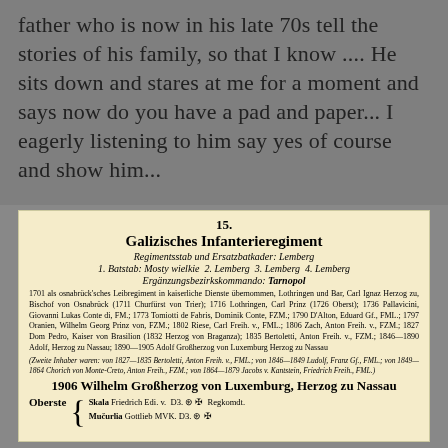father who is now in his late 70s tell the stories of his family, so that I know .... He sits down and stares at me for a moment and says now do you have a pad and paper... I eagerly listening to him say yes of course and show him...
15.
Galizisches Infanterieregiment
Regimentsstab und Ersatzbatkader: Lemberg
1. Batstab: Mosty wielkie 2. Lemberg 3. Lemberg 4. Lemberg
Ergänzungsbezirkskommando: Tarnopol
1701 als osnabrück'sches Leibregiment in kaiserliche Dienste übernommen, Lothringen und Bar, Carl Ignaz Herzog zu, Bischof von Osnabrück (1711 Churfürst von Trier); 1716 Lothringen, Carl Prinz (1726 Oberst); 1736 Pallavicini, Giovanni Lukas Conte di, FM.; 1773 Tomiotti de Fabris, Dominik Conte, FZM.; 1790 D'Alton, Eduard Gf., FML.; 1797 Oranien, Wilhelm Georg Prinz von, FZM.; 1802 Riese, Carl Freih. v., FML.; 1806 Zach, Anton Freih. v., FZM.; 1827 Dom Pedro, Kaiser von Brasilion (1832 Herzog von Braganza); 1835 Bertoletti, Anton Freih. v., FZM.; 1846—1890 Adolf, Herzog zu Nassau; 1890—1905 Adolf Großherzog von Luxemburg Herzog zu Nassau
(Zweite Inhaber waren: von 1827—1835 Bertoletti, Anton Freih. v., FML.; von 1846—1849 Ludolf, Franz Gf., FML.; von 1849—1864 Chorich von Monte-Creto, Anton Freih., FZM.; von 1864—1879 Jacobs v. Kantstein, Friedrich Freih., FML.)
1906 Wilhelm Großherzog von Luxemburg, Herzog zu Nassau
Oberste { Skala Friedrich Edi. v. D3. ⊛ ✠ Regkomdt. Mučurlia Gottlieb MVK. D3. ⊛ ✠